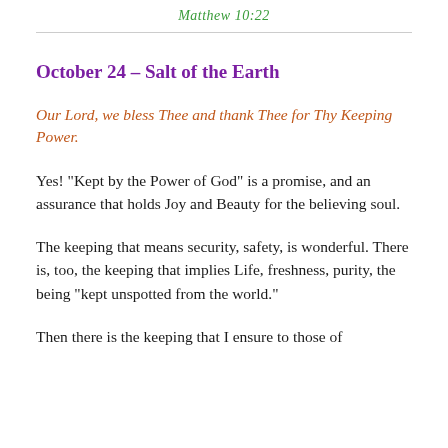Matthew 10:22
October 24 – Salt of the Earth
Our Lord, we bless Thee and thank Thee for Thy Keeping Power.
Yes! “Kept by the Power of God” is a promise, and an assurance that holds Joy and Beauty for the believing soul.
The keeping that means security, safety, is wonderful. There is, too, the keeping that implies Life, freshness, purity, the being “kept unspotted from the world.”
Then there is the keeping that I ensure to those of